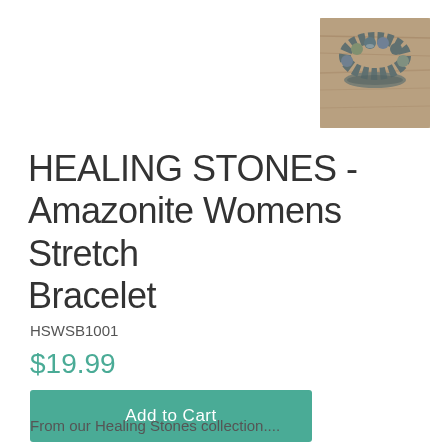[Figure (photo): Small thumbnail photo of an Amazonite beaded stretch bracelet on a wooden background]
HEALING STONES - Amazonite Womens Stretch Bracelet
HSWSB1001
$19.99
Add to Cart
From our Healing Stones collection....